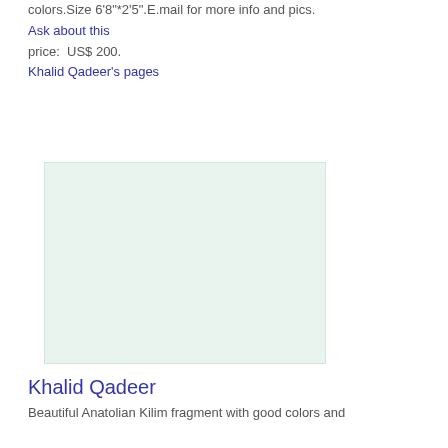colors.Size 6'8"*2'5".E.mail for more info and pics.
Ask about this
price:  US$ 200.
Khalid Qadeer's pages
[Figure (other): Placeholder image area with light green background, representing a rug or kilim photo]
Khalid Qadeer
Beautiful Anatolian Kilim fragment with good colors and